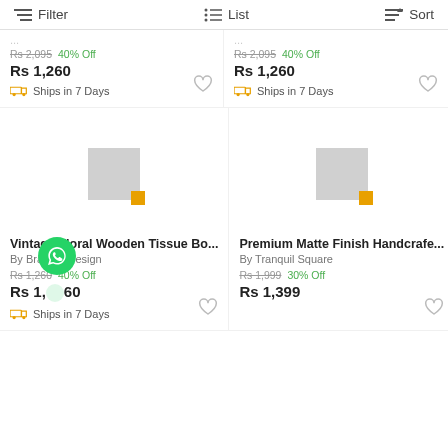Filter   List   Sort
Rs 2,095  40% Off
Rs 1,260
Ships in 7 Days
Rs 2,095  40% Off
Rs 1,260
Ships in 7 Days
[Figure (photo): Product image placeholder for Vintage Floral Wooden Tissue Box]
[Figure (photo): Product image placeholder for Premium Matte Finish Handcrafted item]
Vintage Floral Wooden Tissue Bo...
By Brahma Design
Rs 1,260  40% Off
Rs 1,260
Ships in 7 Days
Premium Matte Finish Handcrafe...
By Tranquil Square
Rs 1,999  30% Off
Rs 1,399